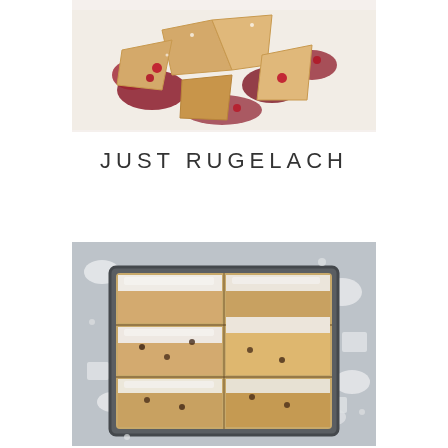[Figure (photo): Top-down photo of rugelach pastries with berry jam filling, golden-brown pastry pieces scattered on parchment paper with red berry filling visible]
JUST RUGELACH
[Figure (photo): Top-down photo of square bar cookies dusted with powdered sugar in a dark baking pan, cut into rectangular pieces showing layered interior with chocolate chips, surrounded by sugar cubes on a gray surface]